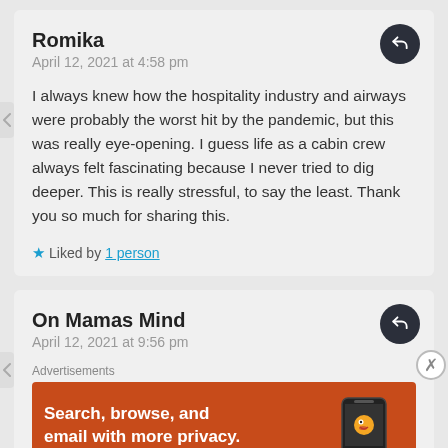Romika
April 12, 2021 at 4:58 pm
I always knew how the hospitality industry and airways were probably the worst hit by the pandemic, but this was really eye-opening. I guess life as a cabin crew always felt fascinating because I never tried to dig deeper. This is really stressful, to say the least. Thank you so much for sharing this.
★ Liked by 1 person
On Mamas Mind
April 12, 2021 at 9:56 pm
Advertisements
Search, browse, and email with more privacy.